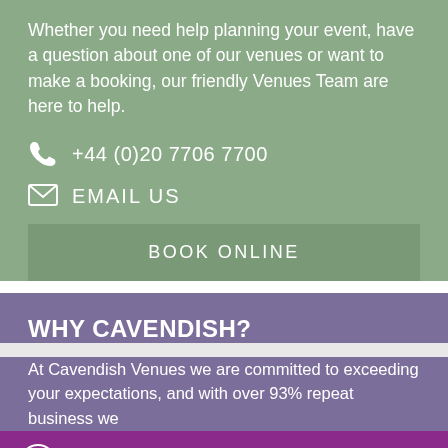Whether you need help planning your event, have a question about one of our venues or want to make a booking, our friendly Venues Team are here to help.
+44 (0)20 7706 7700
EMAIL US
BOOK ONLINE
WHY CAVENDISH?
At Cavendish Venues we are committed to exceeding your expectations, and with over 93% repeat business we
Click here for our latest offers ›
Call us: 020 7706 7700
BOOKING ENQUIRY